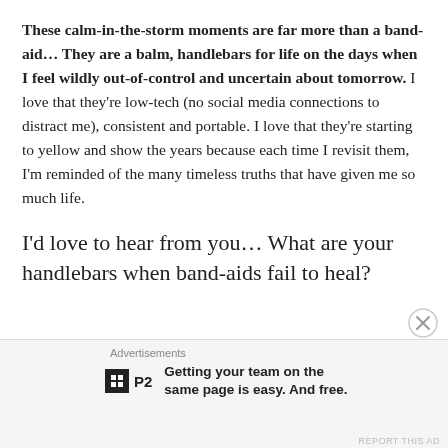These calm-in-the-storm moments are far more than a band-aid… They are a balm, handlebars for life on the days when I feel wildly out-of-control and uncertain about tomorrow. I love that they're low-tech (no social media connections to distract me), consistent and portable. I love that they're starting to yellow and show the years because each time I revisit them, I'm reminded of the many timeless truths that have given me so much life.
I'd love to hear from you… What are your handlebars when band-aids fail to heal?
[Figure (other): Close button (X in circle) overlaid at bottom right of main content area]
Advertisements
[Figure (logo): P2 app logo - black square with white grid icon, followed by 'P2' text]
Getting your team on the same page is easy. And free.